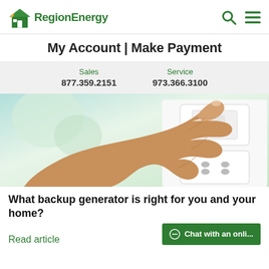RegionEnergy
My Account | Make Payment
Sales 877.359.2151 | Service 973.366.3100
[Figure (photo): A hand pressing a white wall switch above two electrical outlets on a white wall with a blurred green background.]
What backup generator is right for you and your home?
Read article
Chat with an onli...